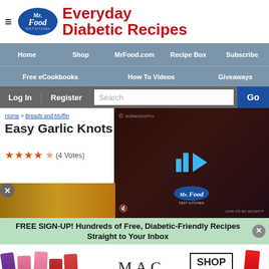Mr. Food Test Kitchen — Everyday Diabetic Recipes
Home | Shop | MrFood.com | Recipe Box | Subscribe | Free eCookbooks | How To Videos | Giveaways
Log In | Register | Search | Go
Home > Breads and Muffins
Easy Garlic Knots
★★★★★ (4 Votes)
[Figure (screenshot): Video player overlay with AdMetricsPro watermark, Mr. Food Test Kitchen logo, play button icon with blue bars, mute icon, and tagline]
FREE SIGN-UP! Hundreds of Free, Diabetic-Friendly Recipes Straight to Your Inbox
[Figure (photo): MAC cosmetics advertisement showing colorful lipsticks, MAC logo, and SHOP NOW button]